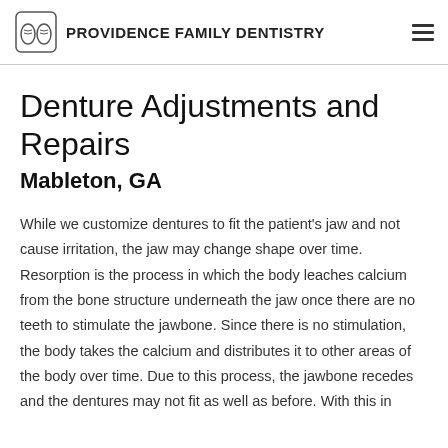Providence Family Dentistry
Denture Adjustments and Repairs
Mableton, GA
While we customize dentures to fit the patient's jaw and not cause irritation, the jaw may change shape over time. Resorption is the process in which the body leaches calcium from the bone structure underneath the jaw once there are no teeth to stimulate the jawbone. Since there is no stimulation, the body takes the calcium and distributes it to other areas of the body over time. Due to this process, the jawbone recedes and the dentures may not fit as well as before. With this in